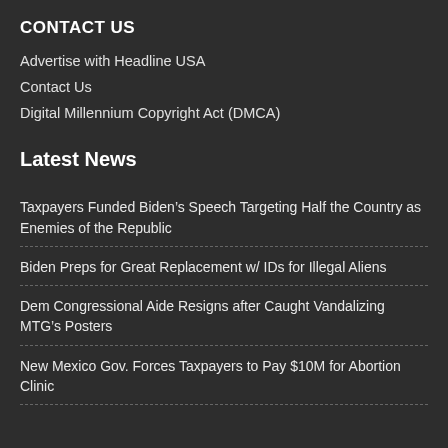CONTACT US
Advertise with Headline USA
Contact Us
Digital Millennium Copyright Act (DMCA)
Latest News
Taxpayers Funded Biden’s Speech Targeting Half the Country as Enemies of the Republic
Biden Preps for Great Replacement w/ IDs for Illegal Aliens
Dem Congressional Aide Resigns after Caught Vandalizing MTG’s Posters
New Mexico Gov. Forces Taxpayers to Pay $10M for Abortion Clinic